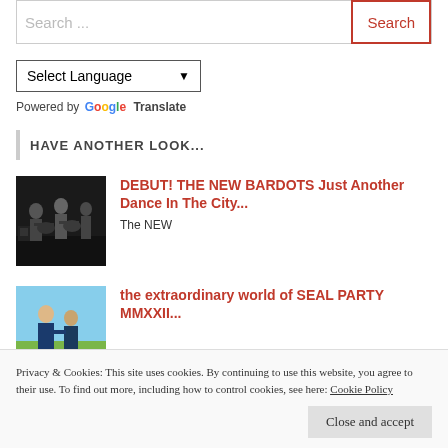Search ...
Search
Select Language
Powered by Google Translate
HAVE ANOTHER LOOK...
[Figure (photo): Black and white photo of a band playing guitars]
DEBUT! THE NEW BARDOTS Just Another Dance In The City...
The NEW
[Figure (photo): Two people standing outdoors with blue sky background]
the extraordinary world of SEAL PARTY MMXXII...
Privacy & Cookies: This site uses cookies. By continuing to use this website, you agree to their use. To find out more, including how to control cookies, see here: Cookie Policy
Close and accept